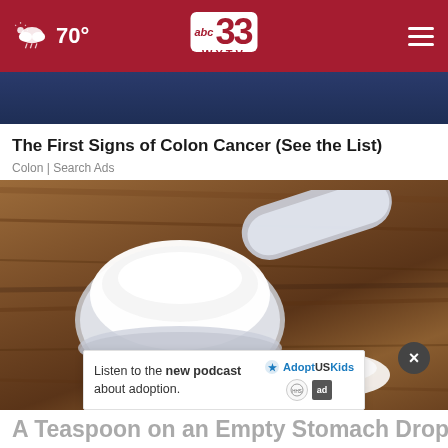abc 33 WYTV | 70°
[Figure (screenshot): Partial image of a dark blue background, top portion of an advertisement card]
The First Signs of Colon Cancer (See the List)
Colon | Search Ads
[Figure (photo): A plastic measuring scoop filled with white powder (possibly protein powder or supplement) on a wooden surface, with a small pile of white powder nearby. A popup ad overlay reads 'Listen to the new podcast about adoption.' with Adopt US Kids and ad logos, and a close button.]
A Teaspoon on an Empty Stomach Drops Body